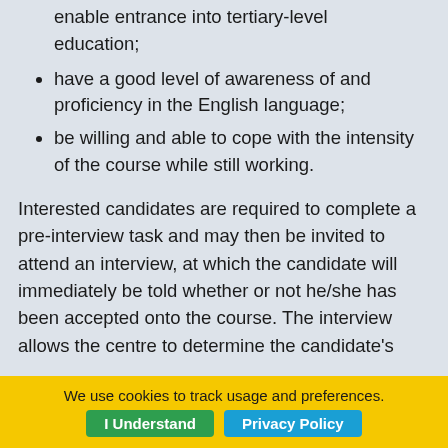schooling leaving certificate, which would enable entrance into tertiary-level education;
have a good level of awareness of and proficiency in the English language;
be willing and able to cope with the intensity of the course while still working.
Interested candidates are required to complete a pre-interview task and may then be invited to attend an interview, at which the candidate will immediately be told whether or not he/she has been accepted onto the course. The interview allows the centre to determine the candidate's
We use cookies to track usage and preferences. I Understand  Privacy Policy